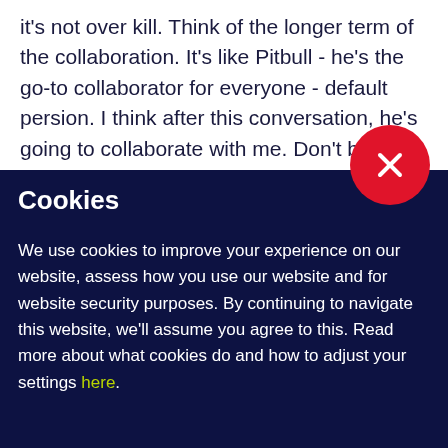it's not over kill. Think of the longer term of the collaboration. It's like Pitbull - he's the go-to collaborator for everyone - default persion. I think after this conversation, he's going to collaborate with me. Don't be Pitbull is my advice.
[Figure (illustration): Red circular close/X button overlapping the boundary between the white text area and the dark blue cookie banner]
Cookies
We use cookies to improve your experience on our website, assess how you use our website and for website security purposes. By continuing to navigate this website, we'll assume you agree to this. Read more about what cookies do and how to adjust your settings here.